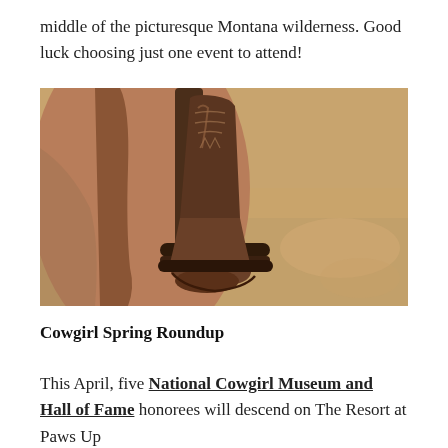middle of the picturesque Montana wilderness. Good luck choosing just one event to attend!
[Figure (photo): Close-up photograph of a cowboy boot in a stirrup on a horse, with sandy ground visible in the background.]
Cowgirl Spring Roundup
This April, five National Cowgirl Museum and Hall of Fame honorees will descend on The Resort at Paws Up...